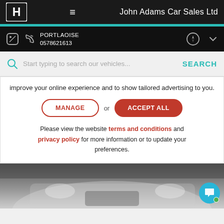John Adams Car Sales Ltd
PORTLAOISE
0578621613
Start typing to search our vehicles... SEARCH
improve your online experience and to show tailored advertising to you.
MANAGE or ACCEPT ALL
Please view the website terms and conditions and privacy policy for more information or to update your preferences.
[Figure (photo): Blurred car front (Honda) visible at bottom of page]